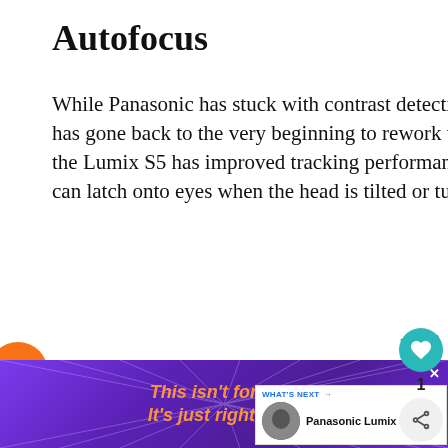Autofocus
While Panasonic has stuck with contrast detection autofocusing and its DFD technology for the S5, it has gone back to the very beginning to rework the algorithm. Consequently, Panasonic claims that the Lumix S5 has improved tracking performance with moving subjects and that the Eye Recognition can latch onto eyes when the head is tilted or turned away.
In addition, Panasonic claims there's a 2x increase in the speed of recognition of faces and eyes and 5x improvement in human and animal detection. The S5 is also able to detect the subject when it is smaller in the frame